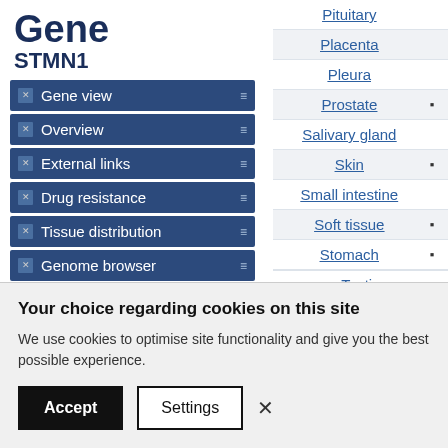Gene STMN1
Gene view
Overview
External links
Drug resistance
Tissue distribution
Genome browser
Mutation distribution
| Tissue | Marker |
| --- | --- |
| Pituitary |  |
| Placenta |  |
| Pleura |  |
| Prostate | ▪ |
| Salivary gland |  |
| Skin | ▪ |
| Small intestine |  |
| Soft tissue | ▪ |
| Stomach | ▪ |
| Testis |  |
Your choice regarding cookies on this site
We use cookies to optimise site functionality and give you the best possible experience.